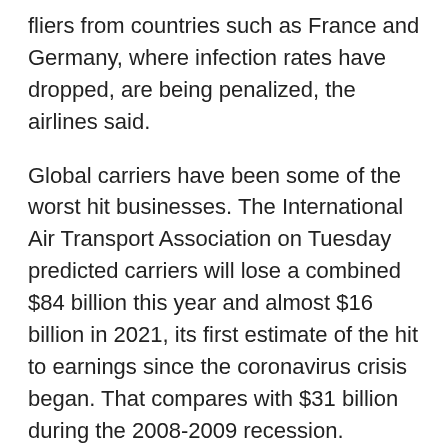fliers from countries such as France and Germany, where infection rates have dropped, are being penalized, the airlines said.
Global carriers have been some of the worst hit businesses. The International Air Transport Association on Tuesday predicted carriers will lose a combined $84 billion this year and almost $16 billion in 2021, its first estimate of the hit to earnings since the coronavirus crisis began. That compares with $31 billion during the 2008-2009 recession.
With infection levels on the decline in most European countries, governments have been easing travel restrictions, and beaches are opening in Greece, Spain and Portugal. Airlines are trying to salvage the summer season when tens of millions of people generally take their vacation.
The quarantine would torpedo BA's plans to resume about 40% of its scheduled flights in July and force it to continue